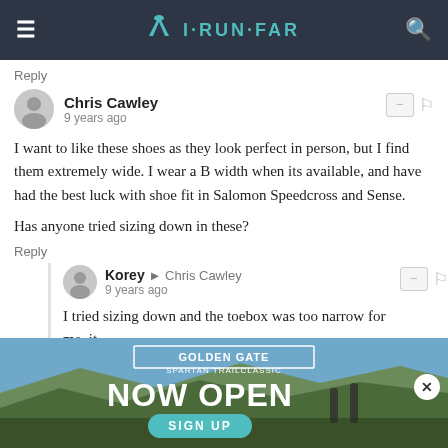I·RUN·FAR
Reply
Chris Cawley
9 years ago
I want to like these shoes as they look perfect in person, but I find them extremely wide. I wear a B width when its available, and have had the best luck with shoe fit in Salomon Speedcross and Sense.

Has anyone tried sizing down in these?
Reply
Korey → Chris Cawley
9 years ago
I tried sizing down and the toebox was too narrow for me, it
[Figure (photo): Golden Gate Spartan Trail Classic advertisement banner with NOW OPEN text and SIGN UP button, outdoor trail running background]